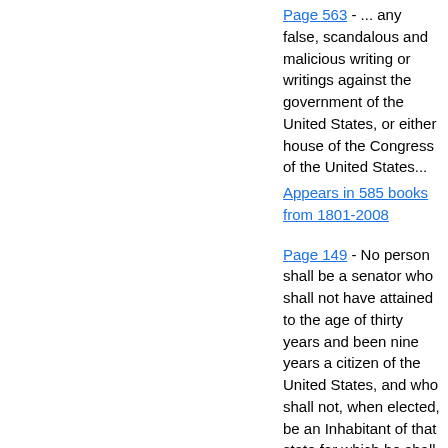Page 563 - ... any false, scandalous and malicious writing or writings against the government of the United States, or either house of the Congress of the United States...
Appears in 585 books from 1801-2008
Page 149 - No person shall be a senator who shall not have attained to the age of thirty years and been nine years a citizen of the United States, and who shall not, when elected, be an Inhabitant of that state for which he shall be chosen. The vice-president of the United